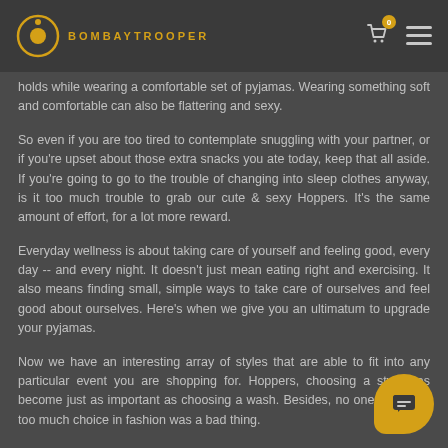BOMBAYTROOPER
holds while wearing a comfortable set of pyjamas. Wearing something soft and comfortable can also be flattering and sexy.
So even if you are too tired to contemplate snuggling with your partner, or if you're upset about those extra snacks you ate today, keep that all aside. If you're going to go to the trouble of changing into sleep clothes anyway, is it too much trouble to grab our cute & sexy Hoppers. It's the same amount of effort, for a lot more reward.
Everyday wellness is about taking care of yourself and feeling good, every day -- and every night. It doesn't just mean eating right and exercising. It also means finding small, simple ways to take care of ourselves and feel good about ourselves. Here's when we give you an ultimatum to upgrade your pyjamas.
Now we have an interesting array of styles that are able to fit into any particular event you are shopping for. Hoppers, choosing a style has become just as important as choosing a wash. Besides, no one ever said too much choice in fashion was a bad thing.
So what are you waiting for? Check out our new collection of Hoppers.